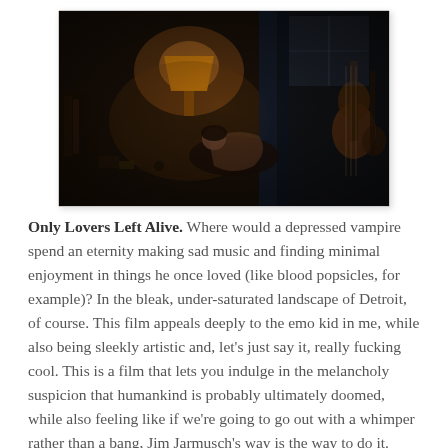[Figure (photo): A dark, cluttered room scene from the film 'Only Lovers Left Alive' with warm amber lighting, a figure reclining on a couch, guitars visible on the right, and various objects filling the space.]
Only Lovers Left Alive. Where would a depressed vampire spend an eternity making sad music and finding minimal enjoyment in things he once loved (like blood popsicles, for example)? In the bleak, under-saturated landscape of Detroit, of course. This film appeals deeply to the emo kid in me, while also being sleekly artistic and, let's just say it, really fucking cool. This is a film that lets you indulge in the melancholy suspicion that humankind is probably ultimately doomed, while also feeling like if we're going to go out with a whimper rather than a bang, Jim Jarmusch's way is the way to do it.
[Figure (photo): A dark scene from a film, partially visible at the bottom of the page.]